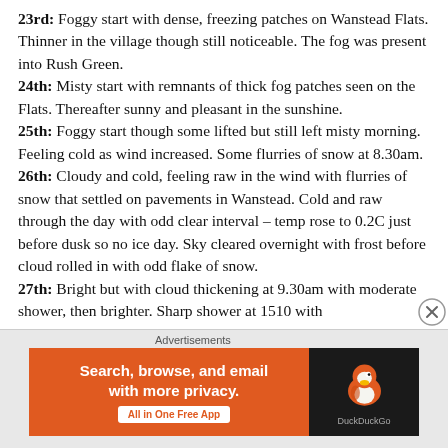23rd: Foggy start with dense, freezing patches on Wanstead Flats. Thinner in the village though still noticeable. The fog was present into Rush Green.
24th: Misty start with remnants of thick fog patches seen on the Flats. Thereafter sunny and pleasant in the sunshine.
25th: Foggy start though some lifted but still left misty morning. Feeling cold as wind increased. Some flurries of snow at 8.30am.
26th: Cloudy and cold, feeling raw in the wind with flurries of snow that settled on pavements in Wanstead. Cold and raw through the day with odd clear interval – temp rose to 0.2C just before dusk so no ice day. Sky cleared overnight with frost before cloud rolled in with odd flake of snow.
27th: Bright but with cloud thickening at 9.30am with moderate shower, then brighter. Sharp shower at 1510 with
Advertisements
[Figure (other): DuckDuckGo advertisement banner. Orange background with text 'Search, browse, and email with more privacy. All in One Free App' and DuckDuckGo logo on dark background on the right.]